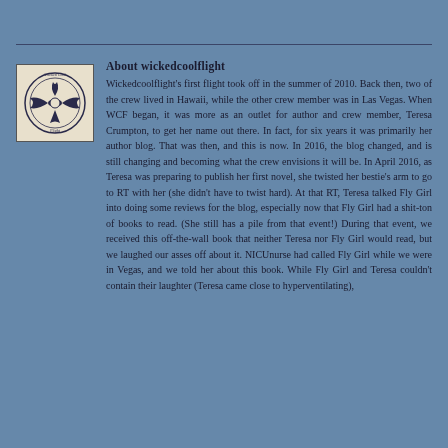[Figure (logo): Wickedcoolflight circular logo with wings and propeller/plane motif, text reading 'Wicked Cool Flight']
About wickedcoolflight
Wickedcoolflight's first flight took off in the summer of 2010. Back then, two of the crew lived in Hawaii, while the other crew member was in Las Vegas. When WCF began, it was more as an outlet for author and crew member, Teresa Crumpton, to get her name out there. In fact, for six years it was primarily her author blog. That was then, and this is now. In 2016, the blog changed, and is still changing and becoming what the crew envisions it will be. In April 2016, as Teresa was preparing to publish her first novel, she twisted her bestie's arm to go to RT with her (she didn't have to twist hard). At that RT, Teresa talked Fly Girl into doing some reviews for the blog, especially now that Fly Girl had a shit-ton of books to read. (She still has a pile from that event!) During that event, we received this off-the-wall book that neither Teresa nor Fly Girl would read, but we laughed our asses off about it. NICUnurse had called Fly Girl while we were in Vegas, and we told her about this book. While Fly Girl and Teresa couldn't contain their laughter (Teresa came close to hyperventilating),